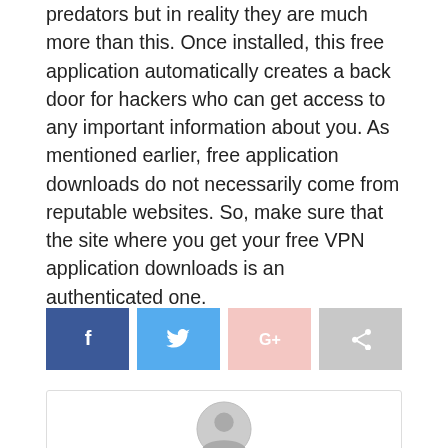predators but in reality they are much more than this. Once installed, this free application automatically creates a back door for hackers who can get access to any important information about you. As mentioned earlier, free application downloads do not necessarily come from reputable websites. So, make sure that the site where you get your free VPN application downloads is an authenticated one.
[Figure (infographic): Social sharing buttons: Facebook (dark blue with f icon), Twitter (light blue with bird icon), Google+ (light pink with G+ icon), Share (gray with share icon)]
[Figure (illustration): Author avatar placeholder: circular gray user silhouette icon inside a bordered box]